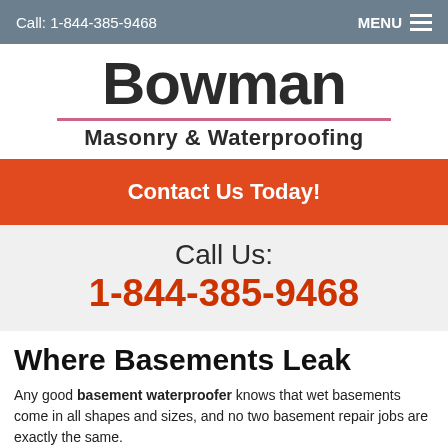Call: 1-844-385-9468   MENU
[Figure (logo): Bowman Masonry & Waterproofing company logo with large bold 'Bowman' text, pink divider line, and subtitle 'Masonry & Waterproofing']
Contact Us Today!
Call Us:
1-844-385-9468
Where Basements Leak
Any good basement waterproofer knows that wet basements come in all shapes and sizes, and no two basement repair jobs are exactly the same.